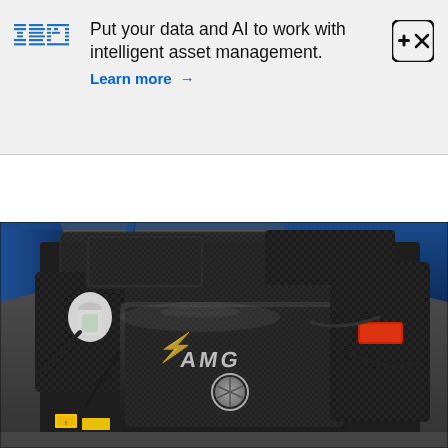[Figure (logo): IBM logo in blue stripes with advertisement banner: 'Put your data and AI to work with intelligent asset management. Learn more →' with a close/expand button icon in top right]
[Figure (photo): Close-up photograph of a Mercedes-AMG engine bay showing the AMG V8 engine with carbon fiber components, visible AMG and Mercedes-Benz star logos, blue car body, and various engine components]